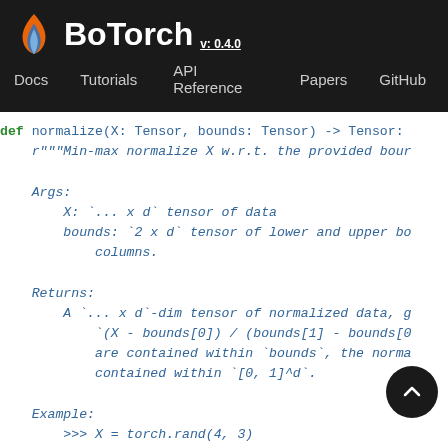BoTorch v: 0.4.0 — Docs  Tutorials  API Reference  Papers  GitHub
def normalize(X: Tensor, bounds: Tensor) -> Tensor:
    r"""Min-max normalize X w.r.t. the provided boun

    Args:
        X: `... x d` tensor of data
        bounds: `2 x d` tensor of lower and upper bo
            columns.

    Returns:
        A `... x d`-dim tensor of normalized data, g
            `(X - bounds[0]) / (bounds[1] - bounds[0
            are contained within `bounds`, the norma
            contained within `[0, 1]^d`.

    Example:
        >>> X = torch.rand(4, 3)
        >>> bounds = torch.stack([torch.zero  0.
        >>> X_normalized = normalize(X, bounds)